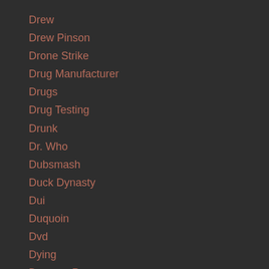Drew
Drew Pinson
Drone Strike
Drug Manufacturer
Drugs
Drug Testing
Drunk
Dr. Who
Dubsmash
Duck Dynasty
Dui
Duquoin
Dvd
Dying
Dynamo Pro
Early Sales
Earthquake
Ea Sports
Ebt Cards
Eccw